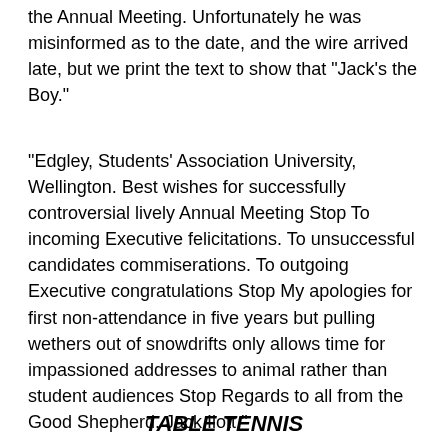the Annual Meeting. Unfortunately he was misinformed as to the date, and the wire arrived late, but we print the text to show that "Jack's the Boy."
"Edgley, Students' Association University, Wellington. Best wishes for successfully controversial lively Annual Meeting Stop To incoming Executive felicitations. To unsuccessful candidates commiserations. To outgoing Executive congratulations Stop My apologies for first non-attendance in five years but pulling wethers out of snowdrifts only allows time for impassioned addresses to animal rather than student audiences Stop Regards to all from the Good Shepherd. Jack Ilott."
TABLE TENNIS